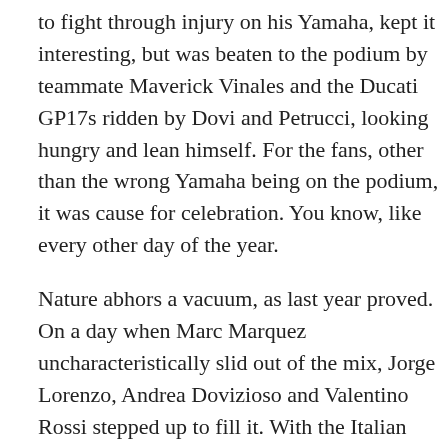to fight through injury on his Yamaha, kept it interesting, but was beaten to the podium by teammate Maverick Vinales and the Ducati GP17s ridden by Dovi and Petrucci, looking hungry and lean himself. For the fans, other than the wrong Yamaha being on the podium, it was cause for celebration. You know, like every other day of the year.
Nature abhors a vacuum, as last year proved. On a day when Marc Marquez uncharacteristically slid out of the mix, Jorge Lorenzo, Andrea Dovizioso and Valentino Rossi stepped up to fill it. With the Italian icon and two Ducatis on the podium, it was, indeed a great day to be Italian. The 2018 standings tightened up a little bit. Enough, at least, to hold our attention for a few more rounds. By the time the circus rolled around to Germany it was pretty much over.